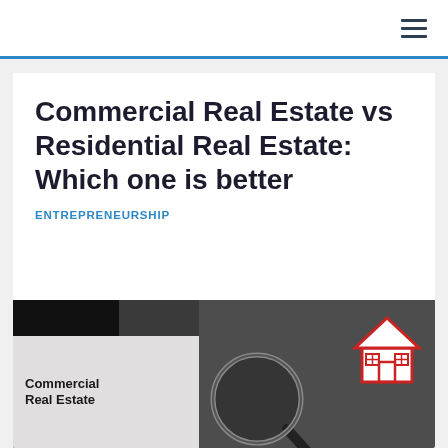≡ (hamburger menu icon)
Commercial Real Estate vs Residential Real Estate: Which one is better
ENTREPRENEURSHIP
[Figure (photo): Article thumbnail image showing a card labeled 'Commercial Real Estate' on the left side over a dark background, and a magnifying glass over a paper house cutout on the right side, on a dark grey surface.]